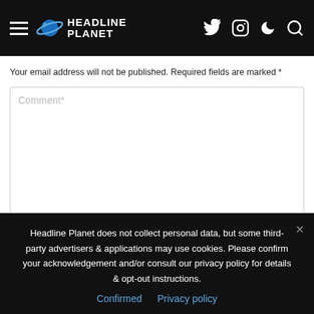Headline Planet
Your email address will not be published. Required fields are marked *
Comment*
Headline Planet does not collect personal data, but some third-party advertisers & applications may use cookies. Please confirm your acknowledgement and/or consult our privacy policy for details & opt-out instructions.
Confirmed  Privacy policy